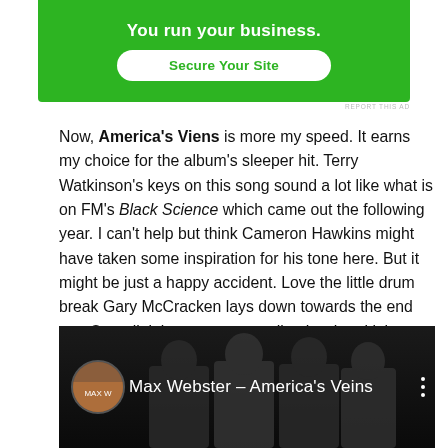[Figure (screenshot): Green advertisement banner with text 'You run your business.' and a 'Secure Your Site' button on white rounded rectangle, with 'REPORT THIS AD' label below]
Now, America's Viens is more my speed. It earns my choice for the album's sleeper hit. Terry Watkinson's keys on this song sound a lot like what is on FM's Black Science which came out the following year. I can't help but think Cameron Hawkins might have taken some inspiration for his tone here. But it might be just a happy accident. Love the little drum break Gary McCracken lays down towards the end too. Overall, it is some outstanding hard-rockin' prog. Crank this one.
[Figure (screenshot): YouTube video thumbnail showing Max Webster - America's Veins with band photo of four people on dark background, with channel icon on left and three-dot menu on right]